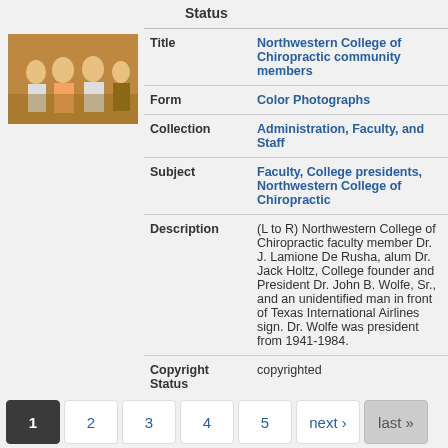Status
[Figure (photo): Color photo of group of people, Northwestern College of Chiropractic community members]
| Field | Value |
| --- | --- |
| Title | Northwestern College of Chiropractic community members |
| Form | Color Photographs |
| Collection | Administration, Faculty, and Staff |
| Subject | Faculty, College presidents, Northwestern College of Chiropractic |
| Description | (L to R) Northwestern College of Chiropractic faculty member Dr. J. Lamione De Rusha, alum Dr. Jack Holtz, College founder and President Dr. John B. Wolfe, Sr., and an unidentified man in front of Texas International Airlines sign. Dr. Wolfe was president from 1941-1984. |
| Copyright Status | copyrighted |
1  2  3  4  5  next ›  last »